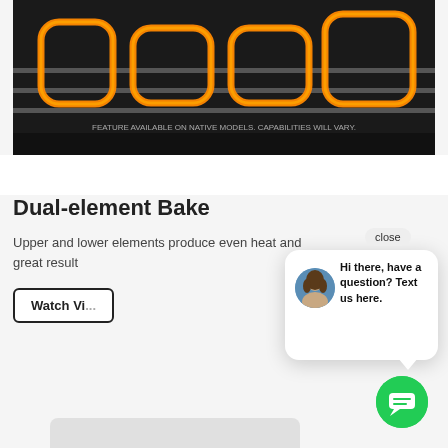[Figure (screenshot): Screenshot of a product page showing an oven with glowing orange heating elements, a 'Dual-element Bake' section header, partial body text 'Upper and lower elements produce even heat and great result...', a 'Watch Vi...' button, and a chat popup overlay with a woman's avatar and the message 'Hi there, have a question? Text us here.' with a close button and a green chat icon in the lower right.]